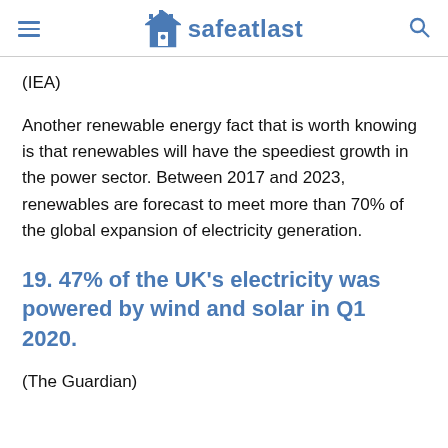safeatlast
(IEA)
Another renewable energy fact that is worth knowing is that renewables will have the speediest growth in the power sector. Between 2017 and 2023, renewables are forecast to meet more than 70% of the global expansion of electricity generation.
19. 47% of the UK's electricity was powered by wind and solar in Q1 2020.
(The Guardian)